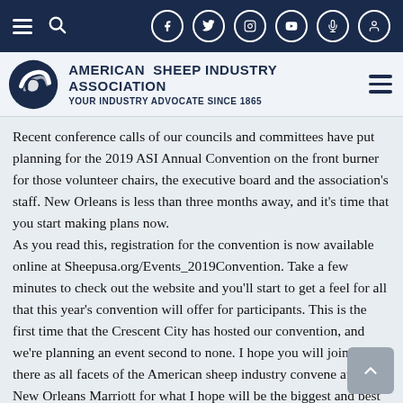American Sheep Industry Association — Your Industry Advocate Since 1865 — navigation bar
Recent conference calls of our councils and committees have put planning for the 2019 ASI Annual Convention on the front burner for those volunteer chairs, the executive board and the association's staff. New Orleans is less than three months away, and it's time that you start making plans now.
As you read this, registration for the convention is now available online at Sheepusa.org/Events_2019Convention. Take a few minutes to check out the website and you'll start to get a feel for all that this year's convention will offer for participants. This is the first time that the Crescent City has hosted our convention, and we're planning an event second to none. I hope you will join us there as all facets of the American sheep industry convene at the New Orleans Marriott for what I hope will be the biggest and best ASI Convention in our 154-year history.
Here are some great reasons to attend in January: